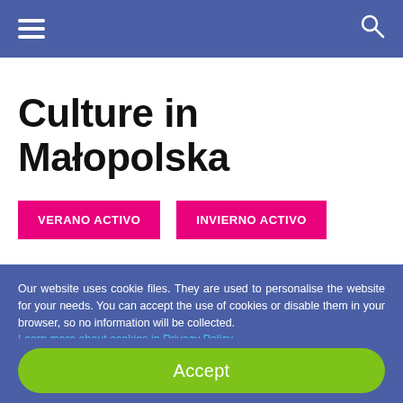Navigation bar with hamburger menu and search icon
Culture in Małopolska
VERANO ACTIVO
INVIERNO ACTIVO
Our website uses cookie files. They are used to personalise the website for your needs. You can accept the use of cookies or disable them in your browser, so no information will be collected. Learn more about cookies in Privacy Policy
Accept